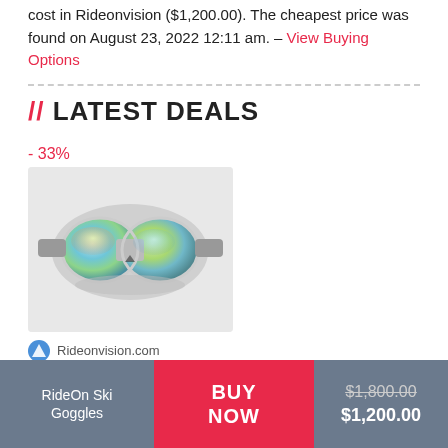cost in Rideonvision ($1,200.00). The cheapest price was found on August 23, 2022 12:11 am. – View Buying Options
// LATEST DEALS
- 33%
[Figure (photo): RideOn AR ski goggles with iridescent blue-yellow reflective lens on white background]
Rideonvision.com
RideOn AR Ski Goggles
$1,200.00  $1,800.00
RideOn Ski Goggles | BUY NOW | $1,800.00  $1,200.00